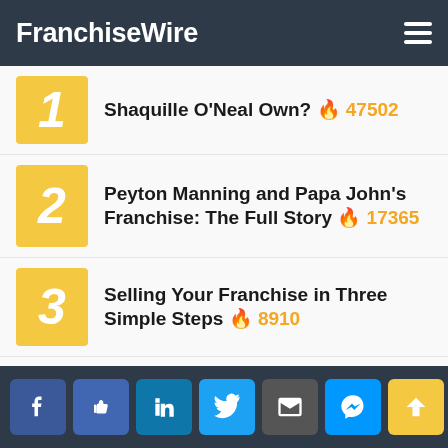FranchiseWire
Shaquille O'Neal Own? 🔥 47502
Peyton Manning and Papa John's Franchise: The Full Story 🔥 17365
Selling Your Franchise in Three Simple Steps 🔥 8910
The Rise, Fall and Reinvigoration of Friendly's 🔥 8879
Social share buttons: Facebook, Facebook, LinkedIn, Twitter, Email, Messenger